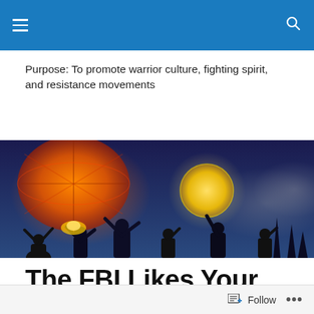Purpose: To promote warrior culture, fighting spirit, and resistance movements
[Figure (photo): Silhouettes of people holding glowing lanterns and orbs against a dark blue twilight sky, with large orange and red illuminated lanterns floating above them.]
The FBI Likes Your Water Protectors Post Too: The Do’s and Don’ts
Follow ...